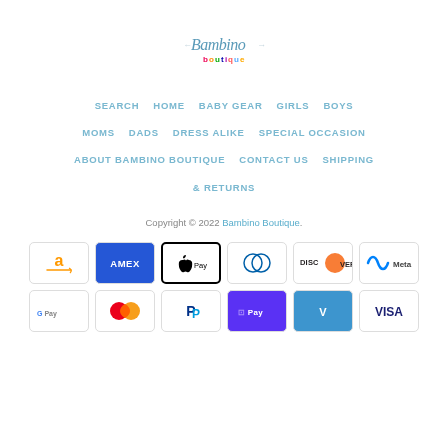[Figure (logo): Bambino Boutique logo with decorative script text]
SEARCH   HOME   BABY GEAR   GIRLS   BOYS   MOMS   DADS   DRESS ALIKE   SPECIAL OCCASION   ABOUT BAMBINO BOUTIQUE   CONTACT US   SHIPPING & RETURNS
Copyright © 2022 Bambino Boutique.
[Figure (other): Payment method icons: Amazon, Amex, Apple Pay, Diners Club, Discover, Meta Pay, Google Pay, Mastercard, PayPal, Shop Pay, Venmo, Visa]